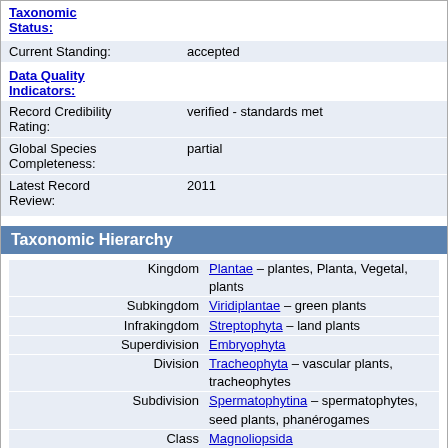Taxonomic Status:
| Field | Value |
| --- | --- |
| Current Standing: | accepted |
| Data Quality Indicators: |  |
| Record Credibility Rating: | verified - standards met |
| Global Species Completeness: | partial |
| Latest Record Review: | 2011 |
Taxonomic Hierarchy
| Rank | Name |
| --- | --- |
| Kingdom | Plantae – plantes, Planta, Vegetal, plants |
| Subkingdom | Viridiplantae – green plants |
| Infrakingdom | Streptophyta – land plants |
| Superdivision | Embryophyta |
| Division | Tracheophyta – vascular plants, tracheophytes |
| Subdivision | Spermatophytina – spermatophytes, seed plants, phanérogames |
| Class | Magnoliopsida |
| Superorder | Asteranae |
| Order | Ericales |
| Family | Polemoniaceae – phlox |
| Genus | Navarretia Ruiz & Pav. – pincushionplant |
| Direct Children: |  |
| Species | Navarretia atractyloides (Benth.) Hook. & Arn. – hollyleaf pincushionplant |